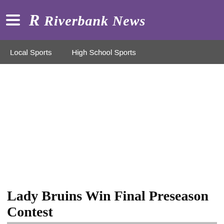R Riverbank News
Local Sports   High School Sports
Lady Bruins Win Final Preseason Contest